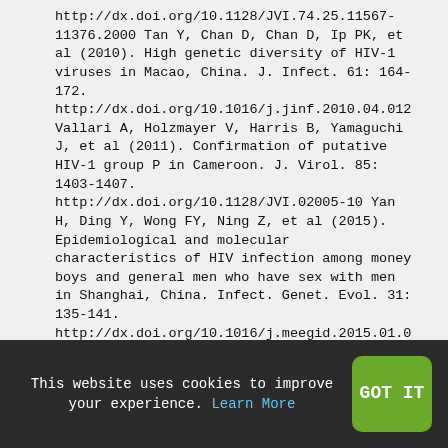http://dx.doi.org/10.1128/JVI.74.25.11567-11376.2000 Tan Y, Chan D, Chan D, Ip PK, et al (2010). High genetic diversity of HIV-1 viruses in Macao, China. J. Infect. 61: 164-172. http://dx.doi.org/10.1016/j.jinf.2010.04.012 Vallari A, Holzmayer V, Harris B, Yamaguchi J, et al (2011). Confirmation of putative HIV-1 group P in Cameroon. J. Virol. 85: 1403-1407. http://dx.doi.org/10.1128/JVI.02005-10 Yan H, Ding Y, Wong FY, Ning Z, et al (2015). Epidemiological and molecular characteristics of HIV infection among money boys and general men who have sex with men in Shanghai, China. Infect. Genet. Evol. 31: 135-141. http://dx.doi.org/10.1016/j.meegid.2015.01.022 Yao X, Wang H, Yan P, Lu Y, et al (2012). Rising epidemic of HIV-1 infections among general populations in Fujian, China. J. Acquir. Immune
This website uses cookies to improve your experience. Learn More